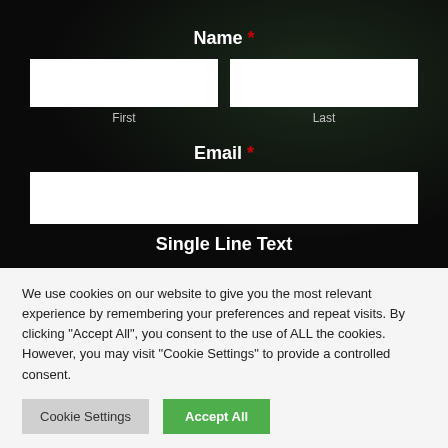Name *
First
Last
Email *
Single Line Text
We use cookies on our website to give you the most relevant experience by remembering your preferences and repeat visits. By clicking "Accept All", you consent to the use of ALL the cookies. However, you may visit "Cookie Settings" to provide a controlled consent.
Cookie Settings
Accept All